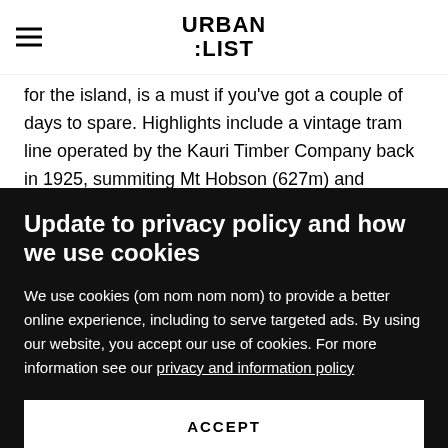URBAN LIST
for the island, is a must if you've got a couple of days to spare. Highlights include a vintage tram line operated by the Kauri Timber Company back in 1925, summiting Mt Hobson (627m) and enjoying a well-earned soak in the Kaitoke Hot Springs.
Update to privacy policy and how we use cookies
We use cookies (om nom nom nom) to provide a better online experience, including to serve targeted ads. By using our website, you accept our use of cookies. For more information see our privacy and information policy
ACCEPT